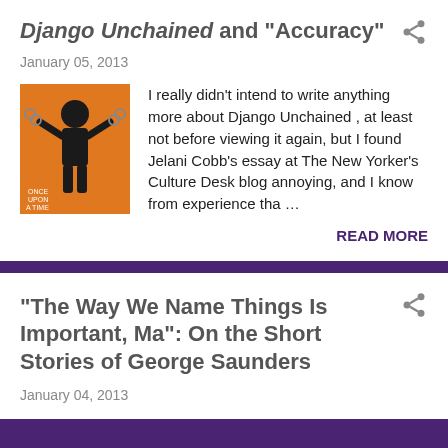Django Unchained and "Accuracy"
January 05, 2013
[Figure (illustration): Orange and black illustration of a chained figure, text reads 'Once Upon a Time in the South']
I really didn't intend to write anything more about Django Unchained , at least not before viewing it again, but I found Jelani Cobb's essay at The New Yorker's Culture Desk blog annoying, and I know from experience tha …
READ MORE
"The Way We Name Things Is Important, Ma": On the Short Stories of George Saunders
January 04, 2013